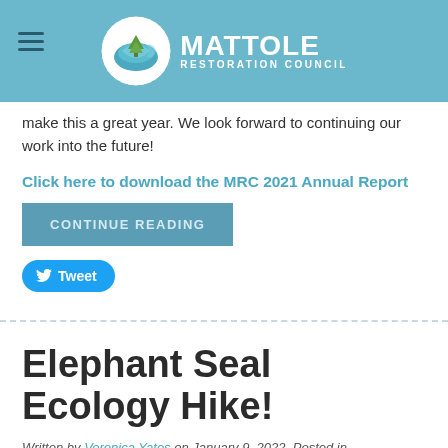MATTOLE RESTORATION COUNCIL
make this a great year. We look forward to continuing our work into the future!
Click here to download the MRC 2021 Annual Report
CONTINUE READING
Tweet
Elephant Seal Ecology Hike!
Written by Veronica Yates on January 9, 2022. Posted in